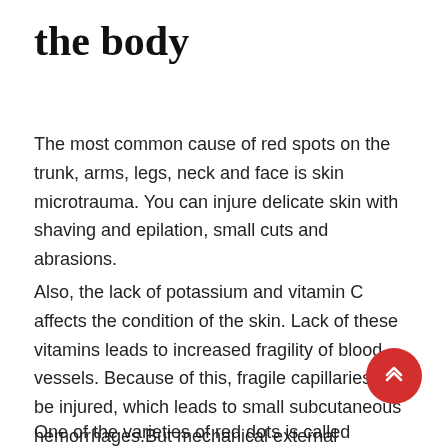the body
The most common cause of red spots on the trunk, arms, legs, neck and face is skin microtrauma. You can injure delicate skin with shaving and epilation, small cuts and abrasions.
Also, the lack of potassium and vitamin C affects the condition of the skin. Lack of these vitamins leads to increased fragility of blood vessels. Because of this, fragile capillaries can be injured, which leads to small subcutaneous hemorrhages.But mechanical external influence can also damage the capillaries. For example, a rubbing strap of a bag, an uncomfortable burnt-in seam, minor bruises.
One of the varieties of red dots is called angiomas or red